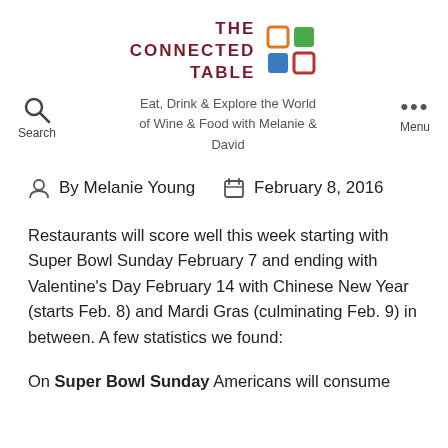[Figure (logo): The Connected Table logo with colored squares (orange, green, blue, red) arranged in a 2x2 grid next to the text]
Eat, Drink & Explore the World of Wine & Food with Melanie & David
By Melanie Young   February 8, 2016
Restaurants will score well this week starting with Super Bowl Sunday February 7 and ending with Valentine's Day February 14 with Chinese New Year (starts Feb. 8) and Mardi Gras (culminating Feb. 9) in between. A few statistics we found:
On Super Bowl Sunday Americans will consume